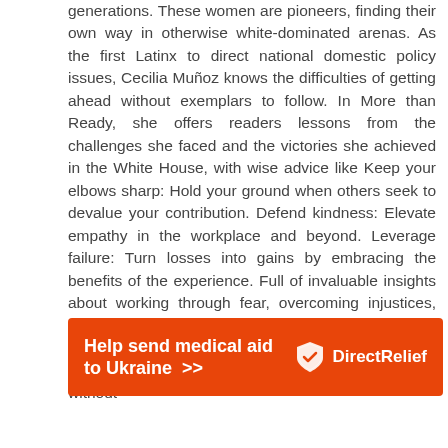generations. These women are pioneers, finding their own way in otherwise white-dominated arenas. As the first Latinx to direct national domestic policy issues, Cecilia Muñoz knows the difficulties of getting ahead without exemplars to follow. In More than Ready, she offers readers lessons from the challenges she faced and the victories she achieved in the White House, with wise advice like Keep your elbows sharp: Hold your ground when others seek to devalue your contribution. Defend kindness: Elevate empathy in the workplace and beyond. Leverage failure: Turn losses into gains by embracing the benefits of the experience. Full of invaluable insights about working through fear, overcoming injustices, and facing down detractors, More than Ready provides the tactical tools women of color need to reach unprecedented levels of power and success — without
[Figure (infographic): Orange advertisement banner for Direct Relief charity: 'Help send medical aid to Ukraine >>' with Direct Relief logo (shield icon) on the right.]